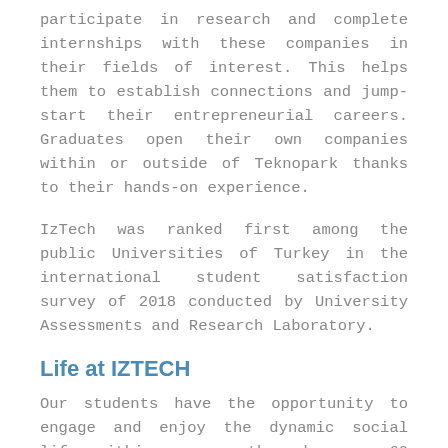participate in research and complete internships with these companies in their fields of interest. This helps them to establish connections and jump-start their entrepreneurial careers. Graduates open their own companies within or outside of Teknopark thanks to their hands-on experience.
IzTech was ranked first among the public Universities of Turkey in the international student satisfaction survey of 2018 conducted by University Assessments and Research Laboratory.
Life at IZTECH
Our students have the opportunity to engage and enjoy the dynamic social life within campus through over 60 active student clubs. Our students also get the